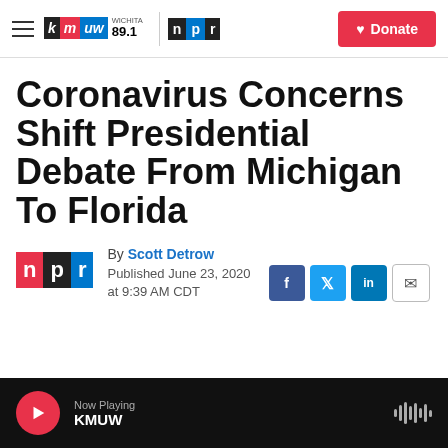KMUW WICHITA 89.1 | NPR  Donate
Coronavirus Concerns Shift Presidential Debate From Michigan To Florida
By Scott Detrow
Published June 23, 2020 at 9:39 AM CDT
Now Playing KMUW